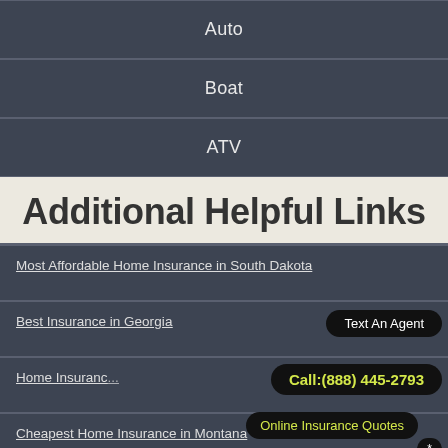Auto
Boat
ATV
Additional Helpful Links
Most Affordable Home Insurance in South Dakota
Best Insurance in Georgia
Home Insurance...
Cheapest Home Insurance in Montana